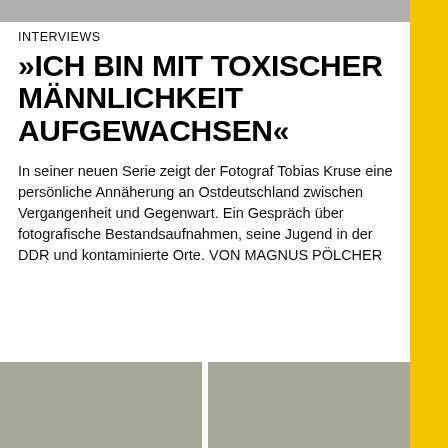INTERVIEWS
»ICH BIN MIT TOXISCHER MÄNNLICHKEIT AUFGEWACHSEN«
In seiner neuen Serie zeigt der Fotograf Tobias Kruse eine persönliche Annäherung an Ostdeutschland zwischen Vergangenheit und Gegenwart. Ein Gespräch über fotografische Bestandsaufnahmen, seine Jugend in der DDR und kontaminierte Orte. VON MAGNUS PÖLCHER
[Figure (photo): Two gray photographic images side by side at the bottom of the page]